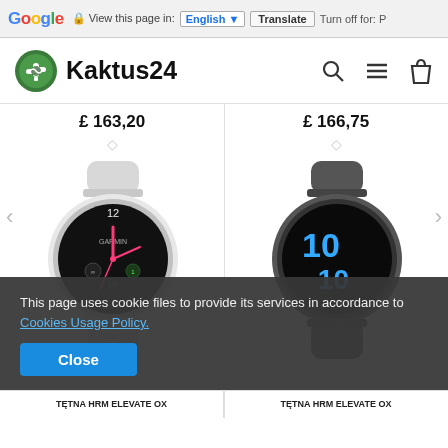Google | View this page in: English | Translate | Turn off for: P
[Figure (logo): Kaktus24 logo with green cactus icon and bold text]
£ 163,20
£ 166,75
[Figure (photo): Garmin smartwatch with light gray/white silicone band and black circular dial showing 12 o'clock, pink/red hands, and Garmin branding]
[Figure (photo): Garmin smartwatch with dark gray silicone band and black circular dial showing 10:10 in large blue digital numbers]
This page uses cookie files to provide its services in accordance to Cookies Usage Policy.
Close
TĘTNA HRM ELEVATE OX
TĘTNA HRM ELEVATE OX